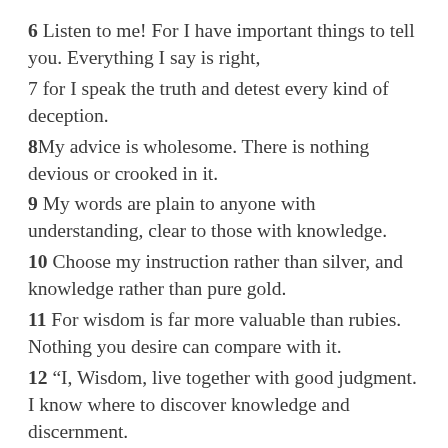6 Listen to me! For I have important things to tell you. Everything I say is right,
7 for I speak the truth and detest every kind of deception.
8 My advice is wholesome. There is nothing devious or crooked in it.
9 My words are plain to anyone with understanding, clear to those with knowledge.
10 Choose my instruction rather than silver, and knowledge rather than pure gold.
11 For wisdom is far more valuable than rubies. Nothing you desire can compare with it.
12 “I, Wisdom, live together with good judgment. I know where to discover knowledge and discernment.
13 All who fear the LORD will hate evil. Therefore, I hate pride and arrogance, corruption and perverse speech.